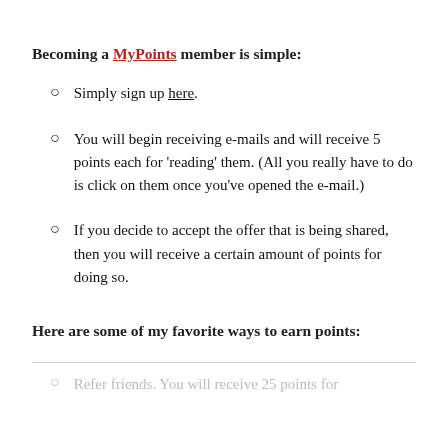Becoming a MyPoints member is simple:
Simply sign up here.
You will begin receiving e-mails and will receive 5 points each for ‘reading’ them. (All you really have to do is click on them once you’ve opened the e-mail.)
If you decide to accept the offer that is being shared, then you will receive a certain amount of points for doing so.
Here are some of my favorite ways to earn points:
Refer friends. You will receive 25 points for